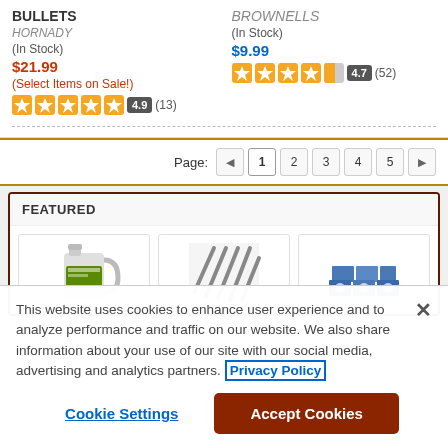BULLETS
HORNADY
(In Stock)
$21.99
(Select Items on Sale!)
4.9 (13)
BROWNELLS
(In Stock)
$9.99
4.7 (52)
Page: 1 2 3 4 5
FEATURED
[Figure (photo): Featured product images: oil jug, diagonal lines product, stacked blue boxes]
This website uses cookies to enhance user experience and to analyze performance and traffic on our website. We also share information about your use of our site with our social media, advertising and analytics partners. Privacy Policy
Cookie Settings   Accept Cookies